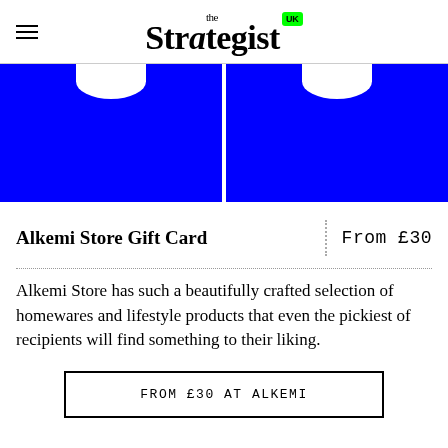the Strategist UK
[Figure (photo): Two blue gift cards side by side, each with a white notch/arch shape cut out from the top center, shown on a white background.]
Alkemi Store Gift Card
From £30
Alkemi Store has such a beautifully crafted selection of homewares and lifestyle products that even the pickiest of recipients will find something to their liking.
FROM £30 AT ALKEMI